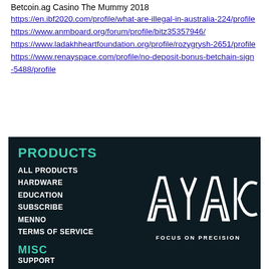Betcoin.ag Casino The Mummy 2018
https://en.ibf2020.com/profile/what-are-illegal-in-australia-224/profile
https://www.anmboard.org/forum/profile/bitz35357946/
https://www.ladakhheartfoundation.org/profile/rozygrysh-2651/profile
https://www.renayspace.com/profile/no-deposit-bonus-betchain-sign-5488/profile
[Figure (logo): AYAIC - Focus on Precision brand banner with dark background. Left side shows PRODUCTS menu (ALL PRODUCTS, HARDWARE, EDUCATION, SUBSCRIBE, MENNO, TERMS OF SERVICE) in white, and MISC section with SUPPORT. Right side shows AYAIC logo text with tagline FOCUS ON PRECISION in white.]